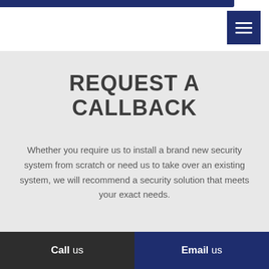[Figure (screenshot): Dark navy blue hamburger menu button with three horizontal white lines, positioned in top-right corner]
REQUEST A CALLBACK
Whether you require us to install a brand new security system from scratch or need us to take over an existing system, we will recommend a security solution that meets your exact needs.
Call us  Email us